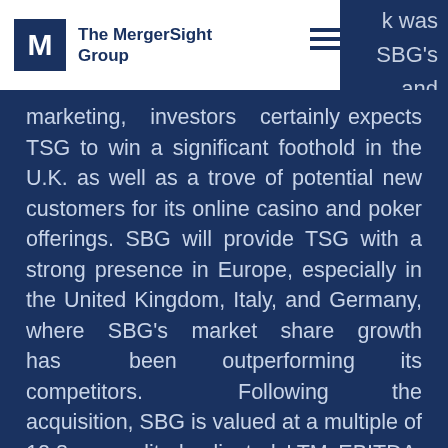The MergerSight Group
k was SBG's and marketing, investors certainly expects TSG to win a significant foothold in the U.K. as well as a trove of potential new customers for its online casino and poker offerings. SBG will provide TSG with a strong presence in Europe, especially in the United Kingdom, Italy, and Germany, where SBG's market share growth has been outperforming its competitors. Following the acquisition, SBG is valued at a multiple of 12.8x unaudited adjusted LTM EBITDA, including expected cost synergies, such as SG&A savings and marketing spend optimizations of